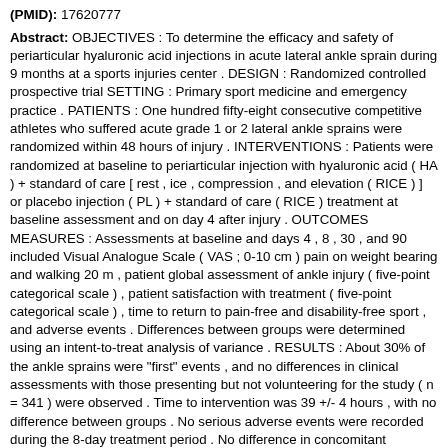(PMID): 17620777
Abstract: OBJECTIVES : To determine the efficacy and safety of periarticular hyaluronic acid injections in acute lateral ankle sprain during 9 months at a sports injuries center . DESIGN : Randomized controlled prospective trial SETTING : Primary sport medicine and emergency practice . PATIENTS : One hundred fifty-eight consecutive competitive athletes who suffered acute grade 1 or 2 lateral ankle sprains were randomized within 48 hours of injury . INTERVENTIONS : Patients were randomized at baseline to periarticular injection with hyaluronic acid ( HA ) + standard of care [ rest , ice , compression , and elevation ( RICE ) ] or placebo injection ( PL ) + standard of care ( RICE ) treatment at baseline assessment and on day 4 after injury . OUTCOMES MEASURES : Assessments at baseline and days 4 , 8 , 30 , and 90 included Visual Analogue Scale ( VAS ; 0-10 cm ) pain on weight bearing and walking 20 m , patient global assessment of ankle injury ( five-point categorical scale ) , patient satisfaction with treatment ( five-point categorical scale ) , time to return to pain-free and disability-free sport , and adverse events . Differences between groups were determined using an intent-to-treat analysis of variance . RESULTS : About 30% of the ankle sprains were "first" events , and no differences in clinical assessments with those presenting but not volunteering for the study ( n = 341 ) were observed . Time to intervention was 39 +/- 4 hours , with no difference between groups . No serious adverse events were recorded during the 8-day treatment period . No difference in concomitant treatment or physical therapy was observed between groups . A significant reduction in VAS pain on both weight bearing and walking was observed at day 8 for HA compared with PL ( P < 0 . 05 ) . Significantly greater patient satisfaction was observed for HA versus PL at days 4 ( P < 0 . 05 ) , 8 ( P < 0 . 001 ) , 30 ( P < 0 . 001 ) , and 90 ( P < 0 . 05 ) . Patient global assessment of ankle injury was significantly better compared with HA versus PL.